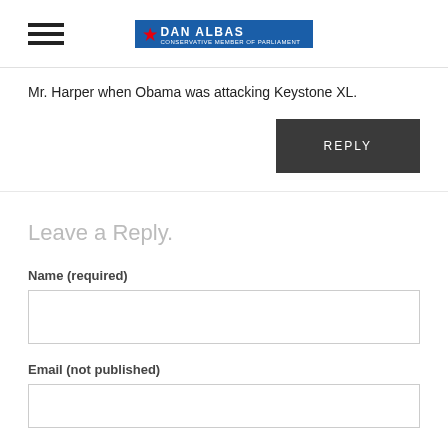Dan Albas – [logo]
Mr. Harper when Obama was attacking Keystone XL.
REPLY
Leave a Reply.
Name (required)
Email (not published)